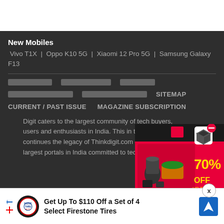New Mobiles
Vivo T1X  |  Oppo K10 5G  |  Xiaomi 12 Pro 5G  |  Samsung Galaxy F13
[Hindi navigation links row 1]
[Hindi navigation links row 2]  SITEMAP
CURRENT / PAST ISSUE   MAGAZINE SUBSCRIPTION
Digit caters to the largest commu... users and enthusiasts in India. Th... continues the legacy of Thinkdigit... the largest portals in India committed to technology ...st ...reviews
[Figure (infographic): Red box advertisement showing kitchen appliances with 70% OFF text]
[Figure (infographic): Advertisement bar: Get Up To $110 Off a Set of 4 Select Firestone Tires, with Firestone logo and navigation icon]